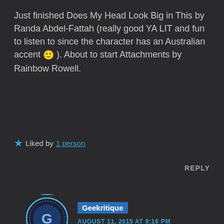Just finished Does My Head Look Big in This by Randa Abdel-Fattah (really good YA LIT and fun to listen to since the character has an Australian accent 🙂 ). About to start Attachments by Rainbow Rowell.
★ Liked by 1 person
REPLY
[Figure (logo): Geekritique avatar - circular logo with stylized G letter]
Geekritique
AUGUST 11, 2015 AT 9:16 PM
What's Attachments about?
★ Like